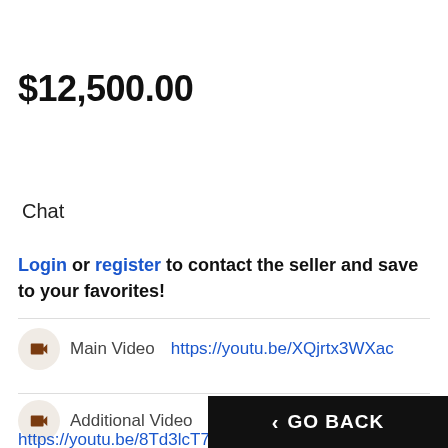$12,500.00
Chat
Login or register to contact the seller and save to your favorites!
Main Video  https://youtu.be/XQjrtx3WXac
Additional Video
https://youtu.be/8Td3lcT7Eb...
< GO BACK